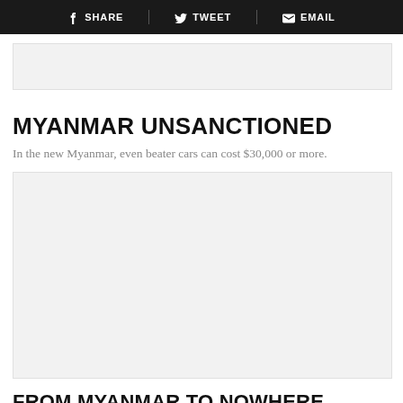SHARE   TWEET   EMAIL
[Figure (other): Light gray placeholder image block at top]
MYANMAR UNSANCTIONED
In the new Myanmar, even beater cars can cost $30,000 or more.
[Figure (photo): Large light gray placeholder image block in center]
FROM MYANMAR TO NOWHERE